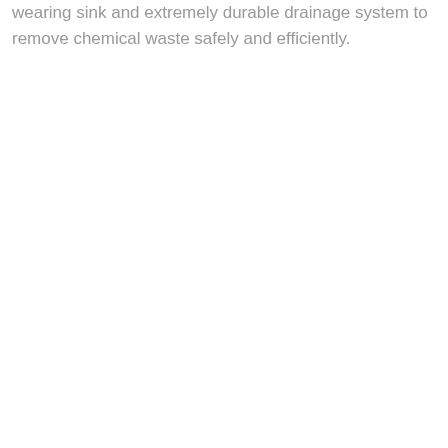wearing sink and extremely durable drainage system to remove chemical waste safely and efficiently.